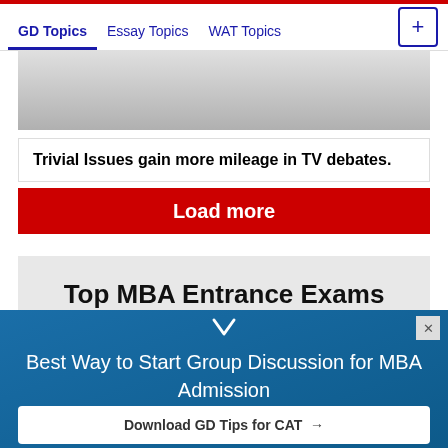GD Topics  Essay Topics  WAT Topics
[Figure (photo): Partial photo of a person, grayscale, cropped at top]
Trivial Issues gain more mileage in TV debates.
Load more
Top MBA Entrance Exams
Best Way to Start Group Discussion for MBA Admission
Download GD Tips for CAT →